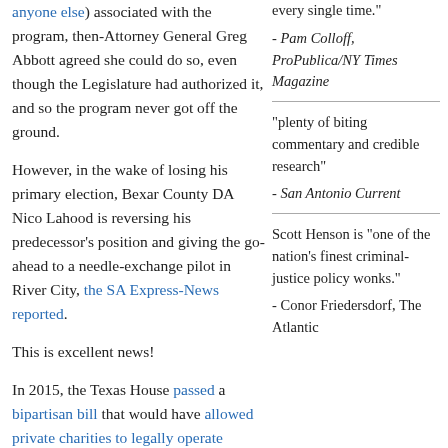anyone else) associated with the program, then-Attorney General Greg Abbott agreed she could do so, even though the Legislature had authorized it, and so the program never got off the ground.
However, in the wake of losing his primary election, Bexar County DA Nico Lahood is reversing his predecessor's position and giving the go-ahead to a needle-exchange pilot in River City, the SA Express-News reported.
This is excellent news!
In 2015, the Texas House passed a bipartisan bill that would have allowed private charities to legally operate needle exchange programs without being prosecuted, but the Senate never considered the legislation. Now, the long-ago pilot championed in 2007 by the late Ruth McLendon-Jones and Dr./Sen. Bob Deuell can demonstrate
every single time."
- Pam Colloff, ProPublica/NY Times Magazine
"plenty of biting commentary and credible research"
- San Antonio Current
Scott Henson is "one of the nation's finest criminal-justice policy wonks."
- Conor Friedersdorf, The Atlantic